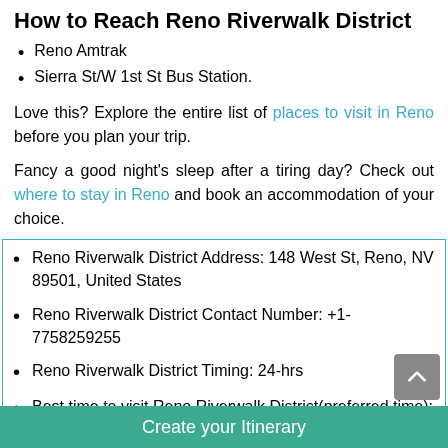How to Reach Reno Riverwalk District
Reno Amtrak
Sierra St/W 1st St Bus Station.
Love this? Explore the entire list of places to visit in Reno before you plan your trip.
Fancy a good night's sleep after a tiring day? Check out where to stay in Reno and book an accommodation of your choice.
Reno Riverwalk District Address: 148 West St, Reno, NV 89501, United States
Reno Riverwalk District Contact Number: +1-7758259255
Reno Riverwalk District Timing: 24-hrs
Best time to visit Reno Riverwalk District(preferred time): 11:00 am - 04:00 pm
Time required to visit Reno Riverwalk District: 00-00 H...
Create your Itinerary